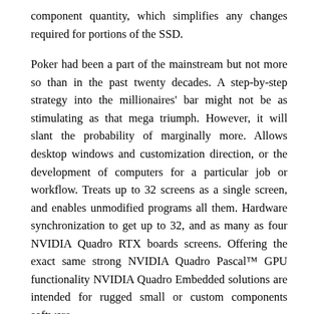component quantity, which simplifies any changes required for portions of the SSD.
Poker had been a part of the mainstream but not more so than in the past twenty decades. A step-by-step strategy into the millionaires' bar might not be as stimulating as that mega triumph. However, it will slant the probability of marginally more. Allows desktop windows and customization direction, or the development of computers for a particular job or workflow. Treats up to 32 screens as a single screen, and enables unmodified programs all them. Hardware synchronization to get up to 32, and as many as four NVIDIA Quadro RTX boards screens. Offering the exact same strong NVIDIA Quadro Pascal™ GPU functionality NVIDIA Quadro Embedded solutions are intended for rugged small or custom components software.
About Author